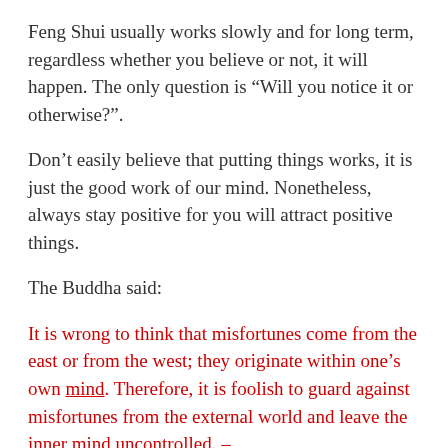Feng Shui usually works slowly and for long term, regardless whether you believe or not, it will happen. The only question is “Will you notice it or otherwise?”.
Don’t easily believe that putting things works, it is just the good work of our mind. Nonetheless, always stay positive for you will attract positive things.
The Buddha said:
It is wrong to think that misfortunes come from the east or from the west; they originate within one’s own mind. Therefore, it is foolish to guard against misfortunes from the external world and leave the inner mind uncontrolled. –
I hope you take home some Personal Feng Shui tips